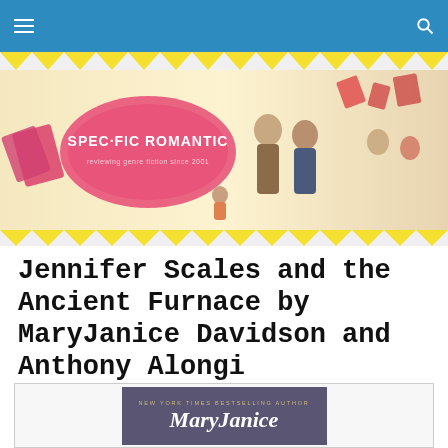[Figure (illustration): Specific Romantic website banner illustration showing couples and characters with colorful book pages floating, featuring the logo 'SPECIFIC ROMANTIC - reviewing genre fiction since 2001']
Jennifer Scales and the Ancient Furnace by MaryJanice Davidson and Anthony Alongi
[Figure (photo): Book cover showing 'NEW YORK TIMES BESTSELLING AUTHOR' above 'MaryJanice' in large italic font on a dark purple background]